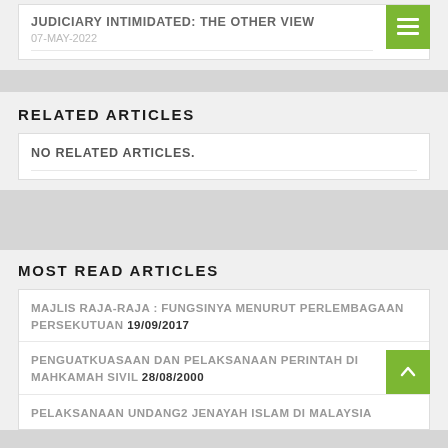JUDICIARY INTIMIDATED: THE OTHER VIEW
07-MAY-2022
RELATED ARTICLES
NO RELATED ARTICLES.
MOST READ ARTICLES
MAJLIS RAJA-RAJA : FUNGSINYA MENURUT PERLEMBAGAAN PERSEKUTUAN 19/09/2017
PENGUATKUASAAN DAN PELAKSANAAN PERINTAH DI MAHKAMAH SIVIL 28/08/2000
PELAKSANAAN UNDANG2 JENAYAH ISLAM DI MALAYSIA